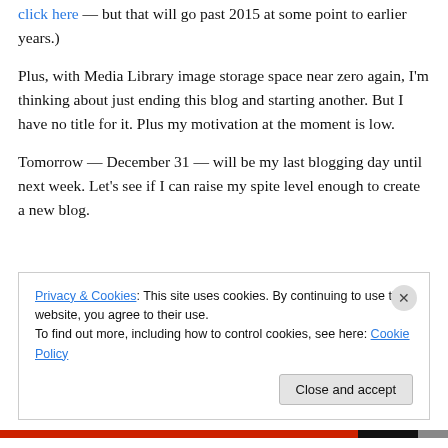click here — but that will go past 2015 at some point to earlier years.)
Plus, with Media Library image storage space near zero again, I'm thinking about just ending this blog and starting another. But I have no title for it. Plus my motivation at the moment is low.
Tomorrow — December 31 — will be my last blogging day until next week. Let's see if I can raise my spite level enough to create a new blog.
Privacy & Cookies: This site uses cookies. By continuing to use this website, you agree to their use.
To find out more, including how to control cookies, see here: Cookie Policy